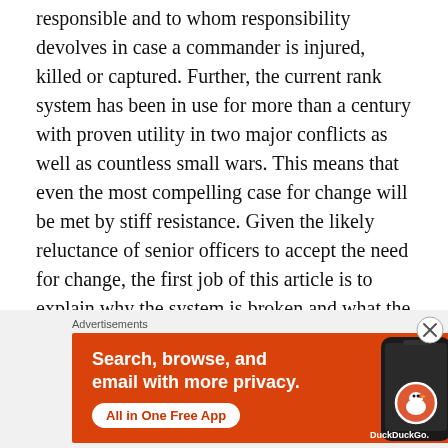responsible and to whom responsibility devolves in case a commander is injured, killed or captured. Further, the current rank system has been in use for more than a century with proven utility in two major conflicts as well as countless small wars. This means that even the most compelling case for change will be met by stiff resistance. Given the likely reluctance of senior officers to accept the need for change, the first job of this article is to explain why the system is broken and what the benefits of change would be.
[Figure (other): DuckDuckGo advertisement banner showing a smartphone with the DuckDuckGo logo. Text reads: 'Search, browse, and email with more privacy. All in One Free App' on an orange/red background.]